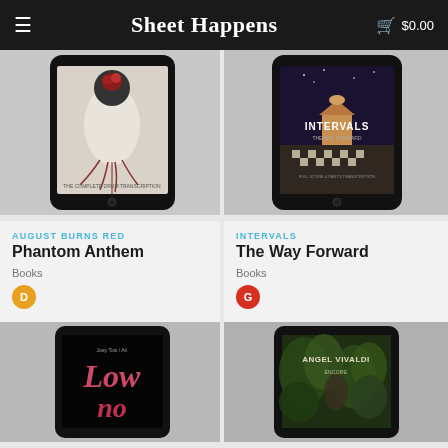Sheet Happens  $0.00
[Figure (photo): Tablet mockup showing August Burns Red - Phantom Anthem book cover with a figure with red rose for a head and root system]
[Figure (photo): Tablet mockup showing Intervals - The Way Forward book cover with surreal nighttime gazebo scene]
AUGUST BURNS RED
Phantom Anthem
Books
INTERVALS
The Way Forward
Books
[Figure (photo): Tablet mockup showing Low book cover with pink/red text on black background]
[Figure (photo): Tablet mockup showing Angel Vivaldi book cover with lush green jungle foliage]